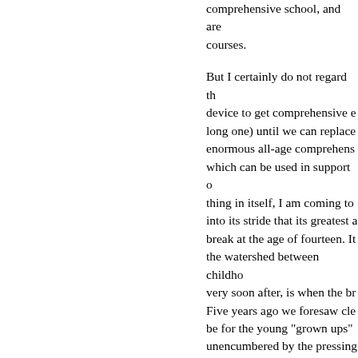comprehensive school, and are courses.
But I certainly do not regard th device to get comprehensive e long one) until we can replace enormous all-age comprehens which can be used in support thing in itself, I am coming to into its stride that its greatest a break at the age of fourteen. It the watershed between childho very soon after, is when the br Five years ago we foresaw cle be for the young "grown ups" unencumbered by the pressing older "children". What we fail climatic advantages which wo once they were freed from the young "grown ups". Most of u never realising what fresh and their departure.
For the moment the high scho plus age group. But they do no